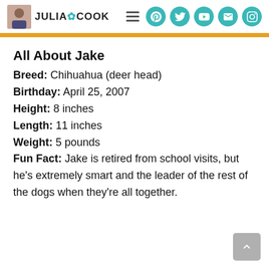Julia Cook — navigation header with logo and social icons
All About Jake
Breed: Chihuahua (deer head)
Birthday: April 25, 2007
Height: 8 inches
Length: 11 inches
Weight: 5 pounds
Fun Fact: Jake is retired from school visits, but he's extremely smart and the leader of the rest of the dogs when they're all together.